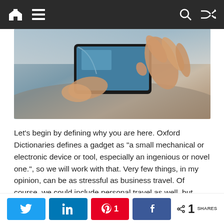Navigation bar with home, menu, search, shuffle icons
[Figure (photo): Close-up photo of hands holding and touching a smartphone/tablet device screen]
Let's begin by defining why you are here. Oxford Dictionaries defines a gadget as “a small mechanical or electronic device or tool, especially an ingenious or novel one.”, so we will work with that. Very few things, in my opinion, can be as stressful as business travel. Of course, we could include personal travel as well, but business travel adds the complexity of a business related goal that needs to be achieved. With that in mind, I will add “reduces stress” and “helps me achieve my business goals” to our definition for the business travel gadget.
Share buttons: Twitter, LinkedIn, Pinterest 1, Facebook, < 1 SHARES